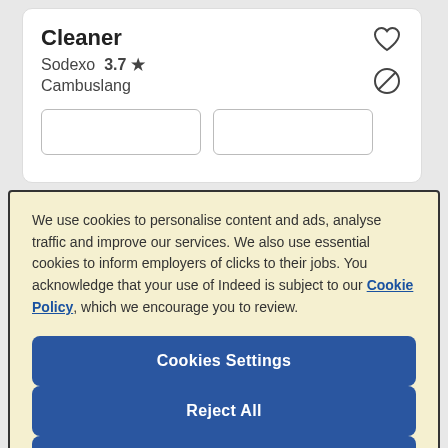Cleaner
Sodexo  3.7 ★
Cambuslang
We use cookies to personalise content and ads, analyse traffic and improve our services. We also use essential cookies to inform employers of clicks to their jobs. You acknowledge that your use of Indeed is subject to our Cookie Policy, which we encourage you to review.
Cookies Settings
Reject All
Accept All Cookies